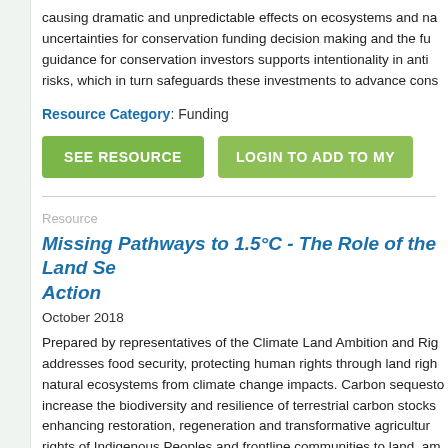causing dramatic and unpredictable effects on ecosystems and na... uncertainties for conservation funding decision making and the fu... guidance for conservation investors supports intentionality in anti... risks, which in turn safeguards these investments to advance cons...
Resource Category: Funding
SEE RESOURCE
LOGIN TO ADD TO MY...
Resource
Missing Pathways to 1.5°C - The Role of the Land Se... Action
October 2018
Prepared by representatives of the Climate Land Ambition and Rig... addresses food security, protecting human rights through land righ... natural ecosystems from climate change impacts. Carbon sequesto... increase the biodiversity and resilience of terrestrial carbon stocks... enhancing restoration, regeneration and transformative agricultur... rights of Indigenous Peoples and frontline communities to land, am... communities through resilient food systems, and healthy biodivers...